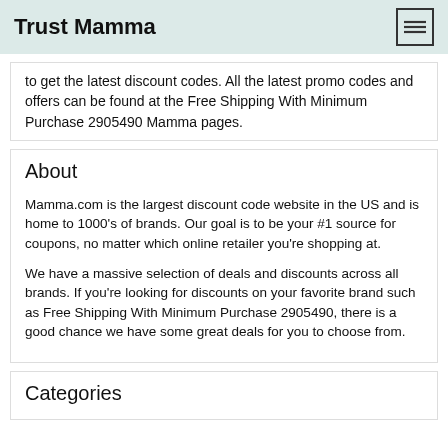Trust Mamma
to get the latest discount codes. All the latest promo codes and offers can be found at the Free Shipping With Minimum Purchase 2905490 Mamma pages.
About
Mamma.com is the largest discount code website in the US and is home to 1000's of brands. Our goal is to be your #1 source for coupons, no matter which online retailer you're shopping at.
We have a massive selection of deals and discounts across all brands. If you're looking for discounts on your favorite brand such as Free Shipping With Minimum Purchase 2905490, there is a good chance we have some great deals for you to choose from.
Categories